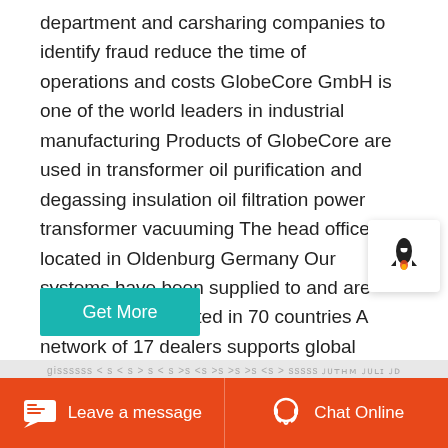department and carsharing companies to identify fraud reduce the time of operations and costs GlobeCore GmbH is one of the world leaders in industrial manufacturing Products of GlobeCore are used in transformer oil purification and degassing insulation oil filtration power transformer vacuuming The head office is located in Oldenburg Germany Our systems have been supplied to and are successfully operated in 70 countries A network of 17 dealers supports global sales and services
Get More
Leave a message
Chat Online